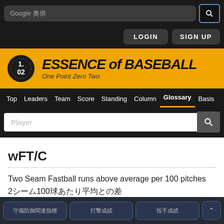[Figure (screenshot): Google search bar with 奥供 text and search icon button]
LOGIN   SIGN UP
[Figure (logo): Essence of Baseball logo with 1.02 baseball icon on orange background, subtitle: One Point Zero Two]
Top  Leaders  Team  Score  Standing  Column  Glossary  Basis
Player
wFT/C
Two Seam Fastball runs above average per 100 pitches　2シーム100球あたり平均との差
守備防御関連指標　　打撃成績　　投手成績